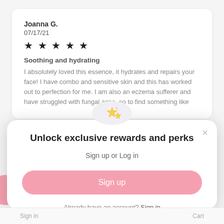Joanna G.
07/17/21
★★★★★
Soothing and hydrating
I absolutely loved this essence, it hydrates and repairs your face! I have combo and sensitive skin and this has worked out to perfection for me. I am also an eczema sufferer and have struggled with fungal acne. so to find something like
[Figure (illustration): Sparkle/stars emoji illustration inside a light gray circle]
Unlock exclusive rewards and perks
Sign up or Log in
Sign up
Already have an account? Sign in
Sign in    Cart